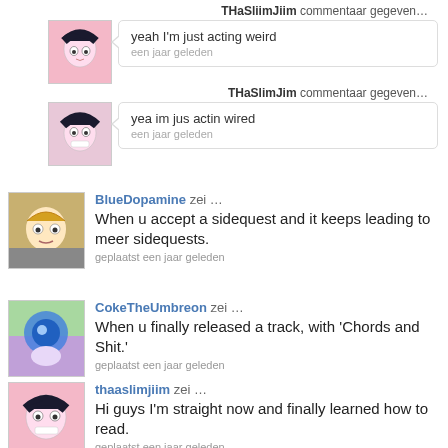THaSliimJiim commentaar gegeven…
yeah I'm just acting weird
een jaar geleden
THaSlimJim commentaar gegeven…
yea im jus actin wired
een jaar geleden
BlueDopamine zei …
When u accept a sidequest and it keeps leading to meer sidequests.
geplaatst een jaar geleden
CokeTheUmbreon zei …
When u finally released a track, with 'Chords and Shit.'
geplaatst een jaar geleden
thaaslimjiim zei …
Hi guys I'm straight now and finally learned how to read.
geplaatst een jaar geleden